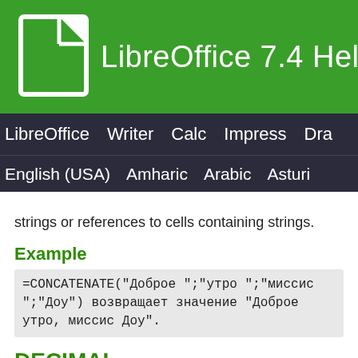LibreOffice 7.4 Help
LibreOffice  Writer  Calc  Impress  Draw
English (USA)  Amharic  Arabic  Asturi
strings or references to cells containing strings.
Example
DECIMAL
Converts text that represents a number in a numeral system with the given base radix to a positive integer. The radix must be in the